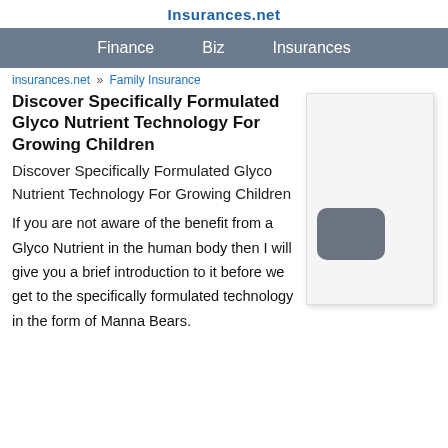Insurances.net
Finance   Biz   Insurances
insurances.net » Family Insurance
Discover Specifically Formulated Glyco Nutrient Technology For Growing Children
Discover Specifically Formulated Glyco Nutrient Technology For Growing Children
If you are not aware of the benefit from a Glyco Nutrient in the human body then I will give you a brief introduction to it before we get to the specifically formulated technology in the form of Manna Bears.
[Figure (other): White advertisement box with a gray rounded rectangle overlay (scroll/button element) in the lower left area]